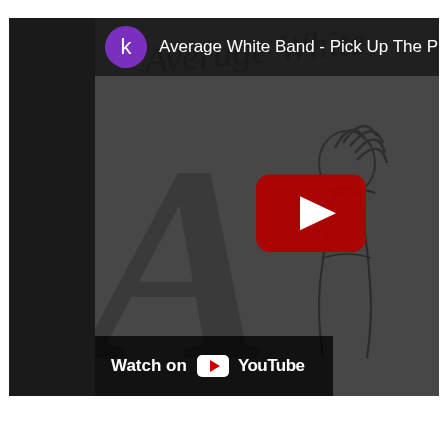[Figure (screenshot): YouTube video embed thumbnail showing 'Average White Band - Pick Up The Pieces'. Dark grey background with album artwork featuring stylized line drawing of a figure and large cursive 'A' lettering. Top bar shows purple 'k' avatar icon and video title. Center shows YouTube play button (dark red rounded rectangle with white triangle). Bottom left shows 'Watch on YouTube' bar with YouTube logo.]